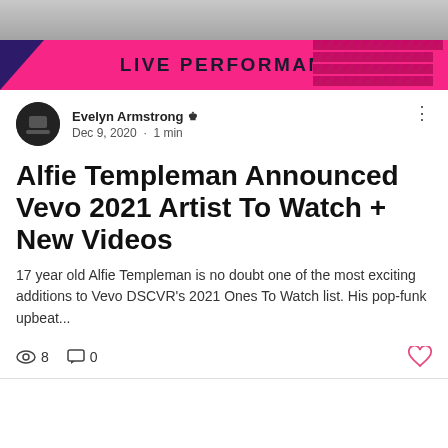[Figure (photo): Banner image showing a partial figure in a dark t-shirt above, with a pink 'LIVE PERFORMANCE' band across the bottom, a dark purple arrow on the left, and a pink triangle pattern on the right.]
Evelyn Armstrong 👑
Dec 9, 2020 · 1 min
Alfie Templeman Announced Vevo 2021 Artist To Watch + New Videos
17 year old Alfie Templeman is no doubt one of the most exciting additions to Vevo DSCVR's 2021 Ones To Watch list. His pop-funk upbeat...
👁 8   💬 0   ♡